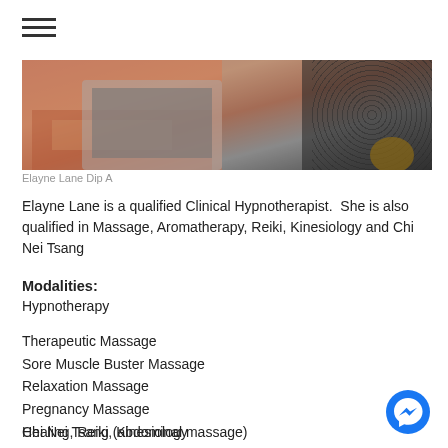[Figure (photo): Hamburger menu icon with three horizontal lines]
[Figure (photo): Partial photo showing a laptop on a patterned rug with a person sitting nearby]
Elayne Lane Dip A
Elayne Lane is a qualified Clinical Hypnotherapist. She is also qualified in Massage, Aromatherapy, Reiki, Kinesiology and Chi Nei Tsang
Modalities:
Hypnotherapy
Therapeutic Massage
Sore Muscle Buster Massage
Relaxation Massage
Pregnancy Massage
Chi Nei Tsang (abdominal massage)
Healing, Reiki, Kinesiology
[Figure (logo): Facebook Messenger blue circular button]